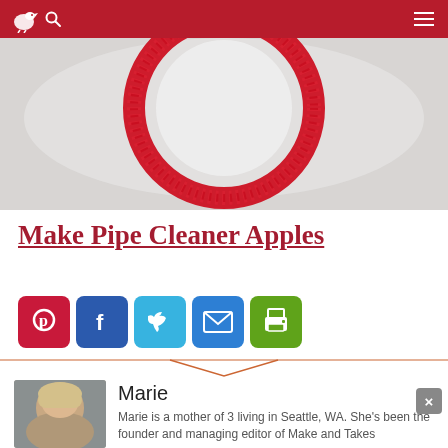Make and Takes – navigation bar with logo, search, and menu
[Figure (photo): Close-up photo of a red pipe cleaner bent into a circular apple shape on a white background]
Make Pipe Cleaner Apples
[Figure (infographic): Row of five social share buttons: Pinterest (red), Facebook (blue), Twitter (light blue), Email (blue), Print (green)]
Marie
[Figure (photo): Headshot photo of Marie, a woman with blonde hair]
Marie is a mother of 3 living in Seattle, WA. She's been the founder and managing editor of Make and Takes